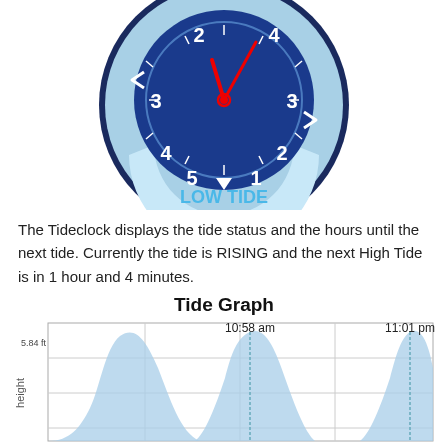[Figure (illustration): Tide clock illustration showing a circular tide clock with a dark blue inner clock face displaying numbers 1-5, red clock hands pointing near 12, an outer lighter blue ring with arrows indicating tide direction, and 'LOW TIDE' text at the bottom in light blue.]
The Tideclock displays the tide status and the hours until the next tide. Currently the tide is RISING and the next High Tide is in 1 hour and 4 minutes.
Tide Graph
[Figure (continuous-plot): Tide graph showing tide height over time with two labeled peaks: '10:58 am' and '11:01 pm', with a y-axis label of 'height' and a value of '5.84 ft' marked on the y-axis. The graph shows wave-like curves of tide rising and falling, filled with light blue color.]